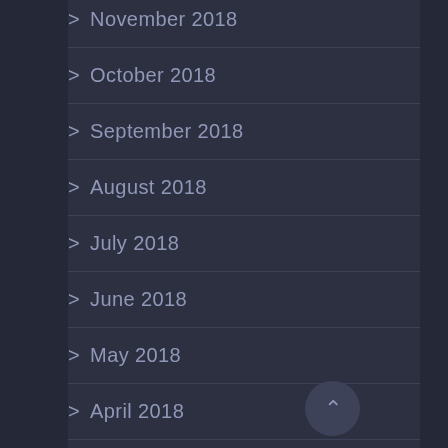> November 2018
> October 2018
> September 2018
> August 2018
> July 2018
> June 2018
> May 2018
> April 2018
> March 2018